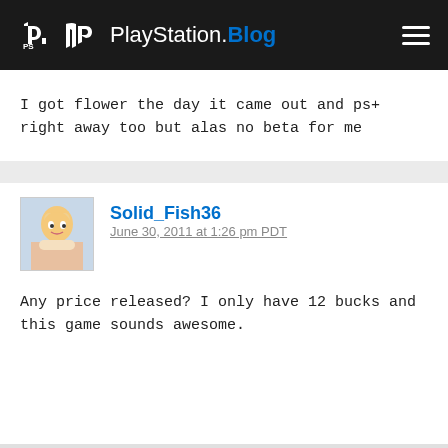PlayStation.Blog
I got flower the day it came out and ps+ right away too but alas no beta for me
Solid_Fish36
June 30, 2011 at 1:26 pm PDT
Any price released? I only have 12 bucks and this game sounds awesome.